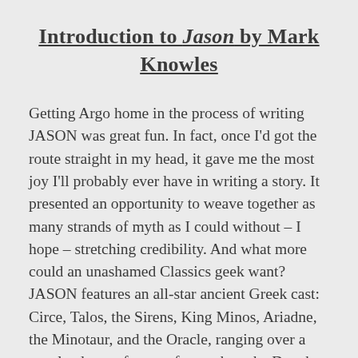Introduction to Jason by Mark Knowles
Getting Argo home in the process of writing JASON was great fun. In fact, once I'd got the route straight in my head, it gave me the most joy I'll probably ever have in writing a story. It presented an opportunity to weave together as many strands of myth as I could without – I hope – stretching credibility. And what more could an unashamed Classics geek want? JASON features an all-star ancient Greek cast: Circe, Talos, the Sirens, King Minos, Ariadne, the Minotaur, and the Oracle, ranging over a vast landscape from as far north as the Danube to